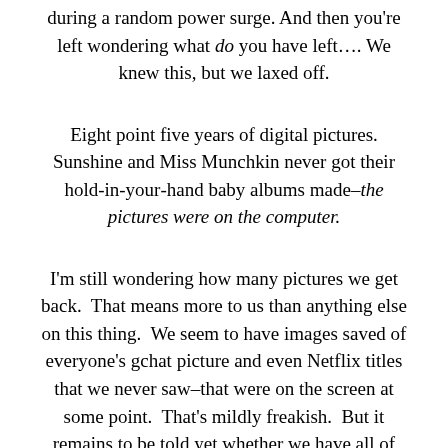during a random power surge. And then you're left wondering what do you have left.... We knew this, but we laxed off.
Eight point five years of digital pictures. Sunshine and Miss Munchkin never got their hold-in-your-hand baby albums made–the pictures were on the computer.
I'm still wondering how many pictures we get back. That means more to us than anything else on this thing. We seem to have images saved of everyone's gchat picture and even Netflix titles that we never saw–that were on the screen at some point. That's mildly freakish. But it remains to be told yet whether we have all of our pictures back and whether